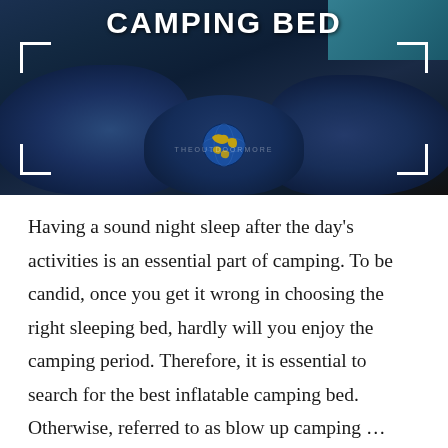[Figure (photo): Photo of dark blue sleeping bags/inflatable camping beds with teal accent in top right corner, white corner bracket markers overlaid, a globe emoji in the center-bottom, and the title 'CAMPING BED' in bold white uppercase text at the top.]
Having a sound night sleep after the day's activities is an essential part of camping. To be candid, once you get it wrong in choosing the right sleeping bed, hardly will you enjoy the camping period. Therefore, it is essential to search for the best inflatable camping bed. Otherwise, referred to as blow up camping …